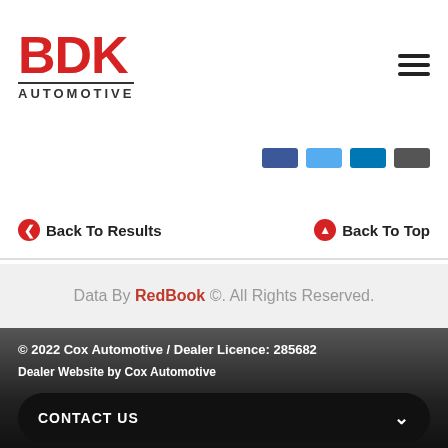[Figure (logo): BDK Automotive logo in red and black]
[Figure (infographic): Hamburger menu icon (three horizontal lines)]
[Figure (infographic): Social media icon buttons: Facebook (dark blue), Twitter (light blue), LinkedIn (medium blue), and another (dark gray)]
Back To Results
Back To Top
Data By RedBook ©. All Rights Reserved.
© 2022 Cox Automotive / Dealer Licence: 285682
Dealer Website by Cox Automotive
CONTACT US
FINANCE THIS VEHICLE